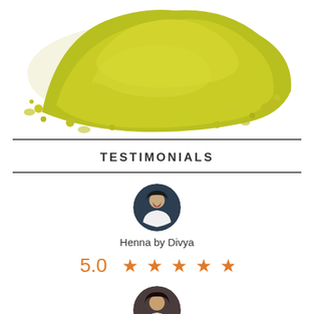[Figure (photo): Pile of yellowish-green henna powder on white background]
TESTIMONIALS
[Figure (photo): Circular avatar photo of a smiling woman in white top, reviewer Henna by Divya]
Henna by Divya
5.0 ★★★★★
[Figure (photo): Circular avatar photo of a second reviewer, partially visible at bottom]